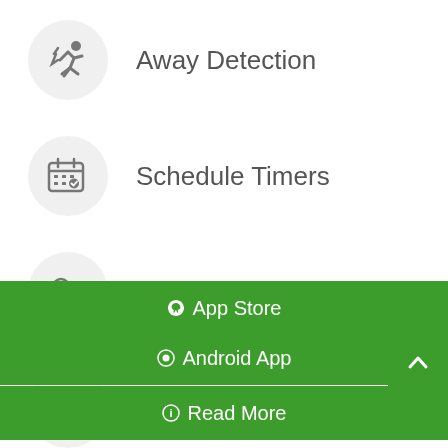Away Detection
Schedule Timers
Password Protection
IFTTT
App Store
Android App
Read More